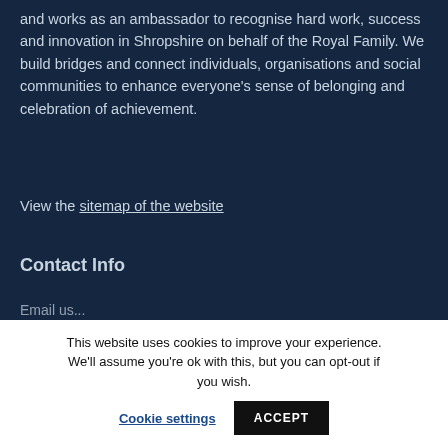and works as an ambassador to recognise hard work, success and innovation in Shropshire on behalf of the Royal Family. We build bridges and connect individuals, organisations and social communities to enhance everyone's sense of belonging and celebration of achievement.
View the sitemap of the website
Contact Info
Email us...
This website uses cookies to improve your experience. We'll assume you're ok with this, but you can opt-out if you wish.